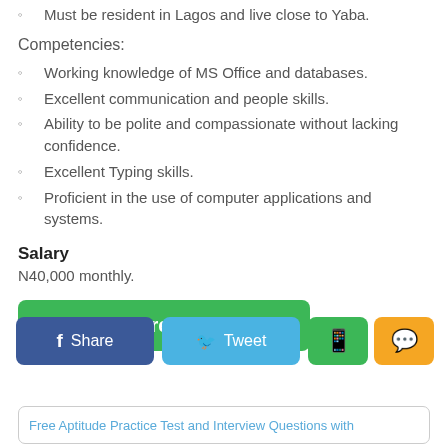Must be resident in Lagos and live close to Yaba.
Competencies:
Working knowledge of MS Office and databases.
Excellent communication and people skills.
Ability to be polite and compassionate without lacking confidence.
Excellent Typing skills.
Proficient in the use of computer applications and systems.
Salary
N40,000 monthly.
[Figure (other): Green 'Click here to Apply' button]
[Figure (other): Social share bar with Facebook Share, Tweet, WhatsApp, and SMS buttons]
Free Aptitude Practice Test and Interview Questions with